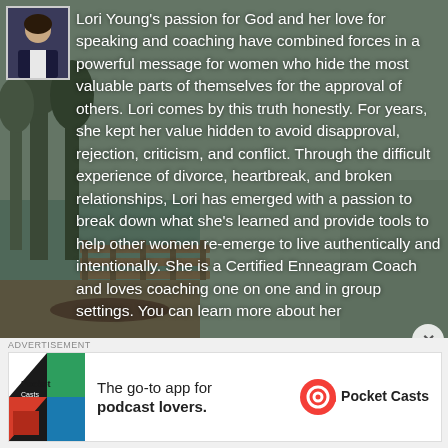[Figure (photo): Outdoor background photo showing a lakeside/riverside scene with trees, a wooden dock, and a woman sitting outdoors. Profile thumbnail of a woman in a dark blazer in upper left.]
Lori Young's passion for God and her love for speaking and coaching have combined forces in a powerful message for women who hide the most valuable parts of themselves for the approval of others. Lori comes by this truth honestly. For years, she kept her value hidden to avoid disapproval, rejection, criticism, and conflict. Through the difficult experience of divorce, heartbreak, and broken relationships, Lori has emerged with a passion to break down what she's learned and provide tools to help other women re-emerge to live authentically and intentionally. She is a Certified Enneagram Coach and loves coaching one on one and in group settings. You can learn more about her
[Figure (advertisement): Advertisement banner for Pocket Casts app. Shows colorful app icon with text 'The go-to app for podcast lovers.' and Pocket Casts logo.]